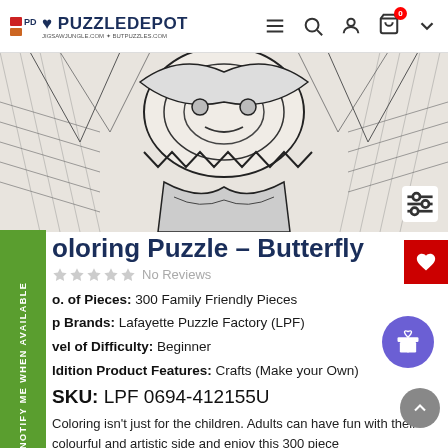PuzzleDepot — jigsawjungle.com • butpuzzles.com
[Figure (illustration): Black and white detailed coloring puzzle illustration of a butterfly, intricate pattern artwork, partially visible cropped at top]
Coloring Puzzle – Butterfly
No Reviews
No. of Pieces: 300 Family Friendly Pieces
Top Brands: Lafayette Puzzle Factory (LPF)
Level of Difficulty: Beginner
Addition Product Features: Crafts (Make your Own)
SKU: LPF 0694-412155U
Coloring isn't just for the children. Adults can have fun with their colourful and artistic side and enjoy this 300 piece